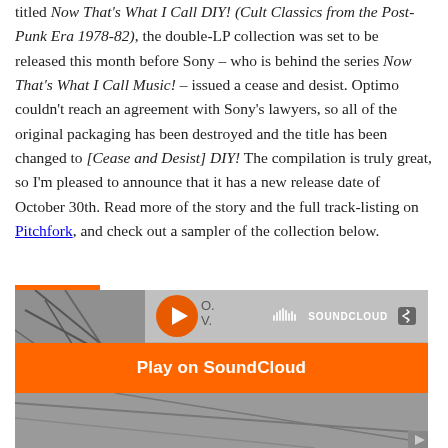titled Now That's What I Call DIY! (Cult Classics from the Post-Punk Era 1978-82), the double-LP collection was set to be released this month before Sony – who is behind the series Now That's What I Call Music! – issued a cease and desist. Optimo couldn't reach an agreement with Sony's lawyers, so all of the original packaging has been destroyed and the title has been changed to [Cease and Desist] DIY! The compilation is truly great, so I'm pleased to announce that it has a new release date of October 30th. Read more of the story and the full track-listing on Pitchfork, and check out a sampler of the collection below.
[Figure (screenshot): SoundCloud embedded player showing [Cease and Desist] DIY! compilation with orange 'Play on SoundCloud' overlay button and 'Listen in browser' button. Gray artwork background visible.]